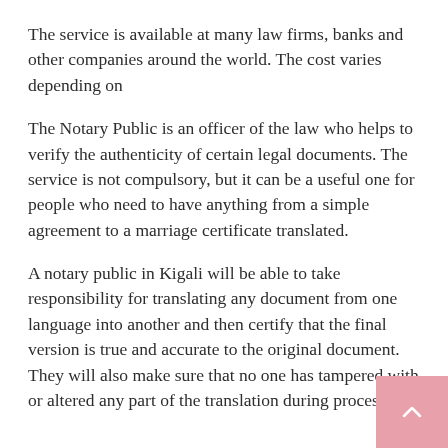The service is available at many law firms, banks and other companies around the world. The cost varies depending on
The Notary Public is an officer of the law who helps to verify the authenticity of certain legal documents. The service is not compulsory, but it can be a useful one for people who need to have anything from a simple agreement to a marriage certificate translated.
A notary public in Kigali will be able to take responsibility for translating any document from one language into another and then certify that the final version is true and accurate to the original document. They will also make sure that no one has tampered with or altered any part of the translation during processing.